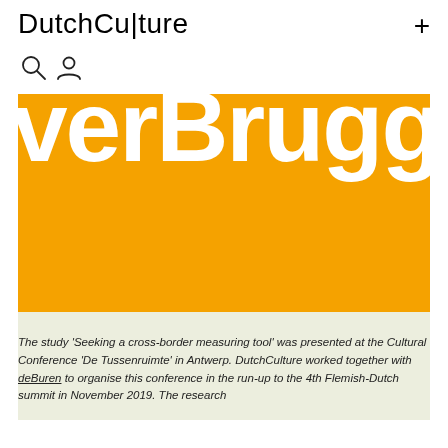DutchCu|ture
[Figure (illustration): Large orange banner with white bold text reading 'verBrugge' cropped at top, with a cream/beige block below it]
The study 'Seeking a cross-border measuring tool' was presented at the Cultural Conference 'De Tussenruimte' in Antwerp. DutchCulture worked together with deBuren to organise this conference in the run-up to the 4th Flemish-Dutch summit in November 2019. The research